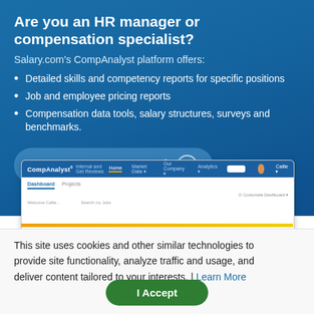Are you an HR manager or compensation specialist?
Salary.com's CompAnalyst platform offers:
Detailed skills and competency reports for specific positions
Job and employee pricing reports
Compensation data tools, salary structures, surveys and benchmarks.
Learn about CompAnalyst®
[Figure (screenshot): CompAnalyst platform dashboard screenshot showing navigation bar and dashboard interface]
This site uses cookies and other similar technologies to provide site functionality, analyze traffic and usage, and deliver content tailored to your interests. | Learn More
I Accept